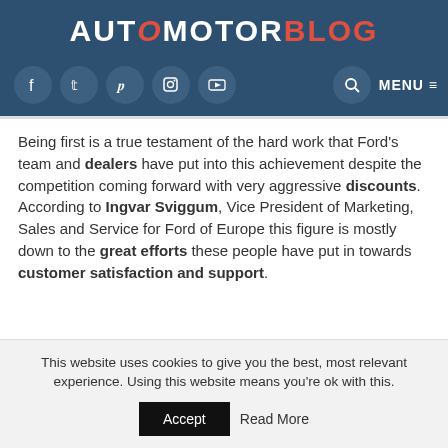AUTOMOTORBLOG
Being first is a true testament of the hard work that Ford's team and dealers have put into this achievement despite the competition coming forward with very aggressive discounts. According to Ingvar Sviggum, Vice President of Marketing, Sales and Service for Ford of Europe this figure is mostly down to the great efforts these people have put in towards customer satisfaction and support.
This website uses cookies to give you the best, most relevant experience. Using this website means you're ok with this.